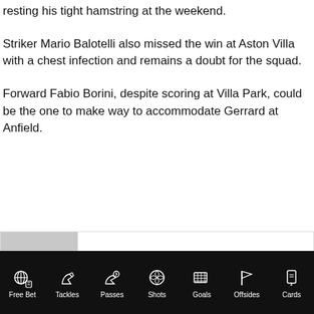resting his tight hamstring at the weekend.
Striker Mario Balotelli also missed the win at Aston Villa with a chest infection and remains a doubt for the squad.
Forward Fabio Borini, despite scoring at Villa Park, could be the one to make way to accommodate Gerrard at Anfield.
Adam Lione
Free Bet  Tackles  Passes  Shots  Goals  Offsides  Cards